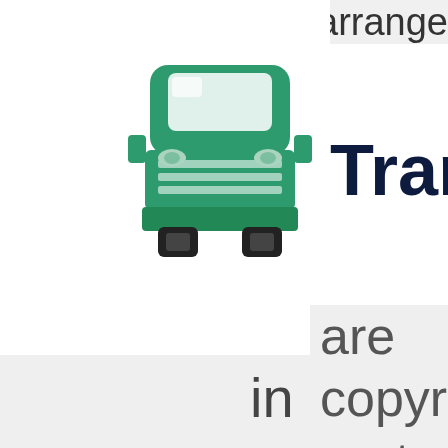arrange
[Figure (illustration): Green semi-truck / freight truck icon viewed from the front, with green cab, white windshield, green grille stripes, and dark wheels]
Transp
are copyright protected in